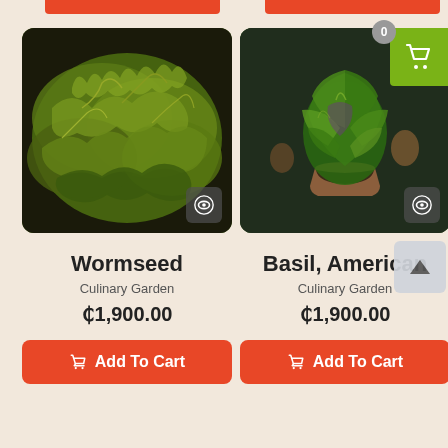[Figure (photo): Product photo of Wormseed plant — dense green moss-like herb on dark background]
Wormseed
Culinary Garden
₵1,900.00
Add To Cart
[Figure (photo): Product photo of Basil, American plant — green leafy basil in a terracotta pot]
Basil, American
Culinary Garden
₵1,900.00
Add To Cart